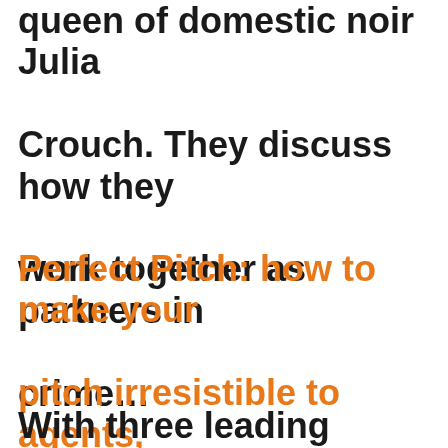queen of domestic noir Julia Crouch. They discuss how they work together as partners in crime…
Perfect Pitch: how to make your pitch irresistible to agents, publishers and readers
With three leading literary agents